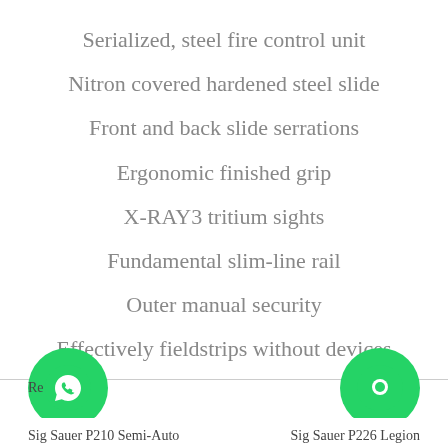Serialized, steel fire control unit
Nitron covered hardened steel slide
Front and back slide serrations
Ergonomic finished grip
X-RAY3 tritium sights
Fundamental slim-line rail
Outer manual security
Effectively fieldstrips without devices
Sig Sauer P210 Semi-Auto    Sig Sauer P226 Legion